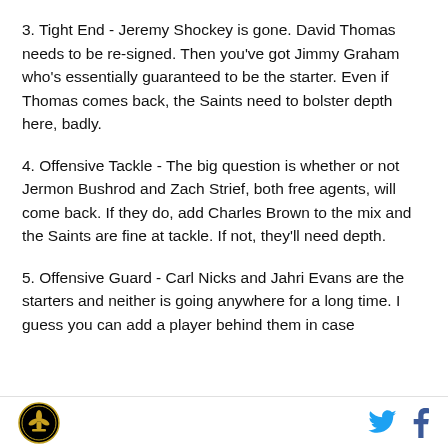3. Tight End - Jeremy Shockey is gone. David Thomas needs to be re-signed. Then you've got Jimmy Graham who's essentially guaranteed to be the starter. Even if Thomas comes back, the Saints need to bolster depth here, badly.
4. Offensive Tackle - The big question is whether or not Jermon Bushrod and Zach Strief, both free agents, will come back. If they do, add Charles Brown to the mix and the Saints are fine at tackle. If not, they'll need depth.
5. Offensive Guard - Carl Nicks and Jahri Evans are the starters and neither is going anywhere for a long time. I guess you can add a player behind them in case
[Saints logo] [Twitter icon] [Facebook icon]